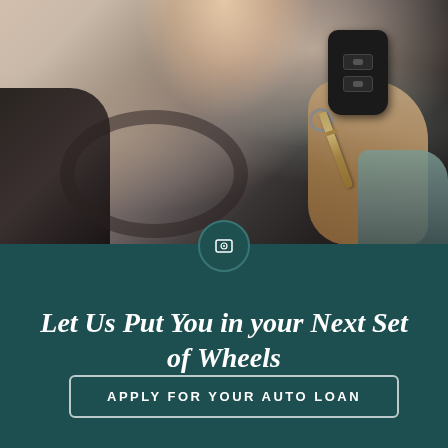[Figure (photo): Person holding car keys with a key fob inside a vehicle, blurred car interior with steering wheel visible in background, warm light flare at top]
Let Us Put You in your Next Set of Wheels
APPLY FOR YOUR AUTO LOAN